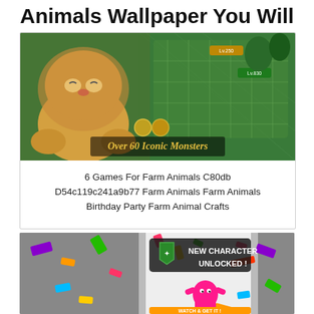Animals Wallpaper You Will Love
[Figure (screenshot): Game screenshot showing a cartoon lion/monster character on the left and a game map view on the right with text 'Over 60 Iconic Monsters']
6 Games For Farm Animals C80db D54c119c241a9b77 Farm Animals Farm Animals Birthday Party Farm Animal Crafts
[Figure (screenshot): Mobile game screenshot showing a pink monster character with 'NEW CHARACTER UNLOCKED!' banner and confetti, with 'WATCH & GET IT' button, on a grey background with colorful confetti]